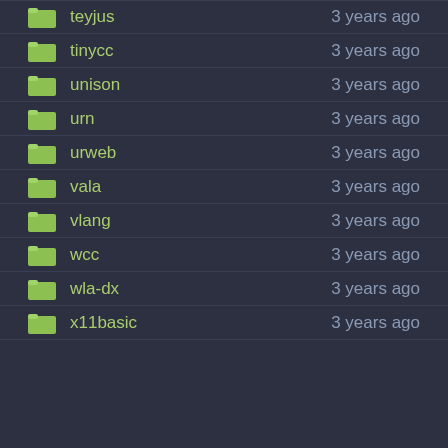teyjus    3 years ago
tinycc    3 years ago
unison    3 years ago
urn    3 years ago
urweb    3 years ago
vala    3 years ago
vlang    3 years ago
wcc    3 years ago
wla-dx    3 years ago
x11basic    3 years ago